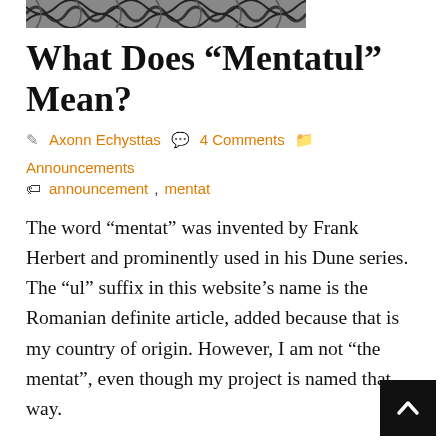[Figure (illustration): Decorative black and white swirling pattern image strip at top of page]
What Does “Mentatul” Mean?
Axonn Echysttas  4 Comments  Announcements  announcement, mentat
The word “mentat” was invented by Frank Herbert and prominently used in his Dune series. The “ul” suffix in this website’s name is the Romanian definite article, added because that is my country of origin. However, I am not “the mentat”, even though my project is named that way.
Instead, the name of this website pays homage the concept of a mentat. It is an aspiration of mine